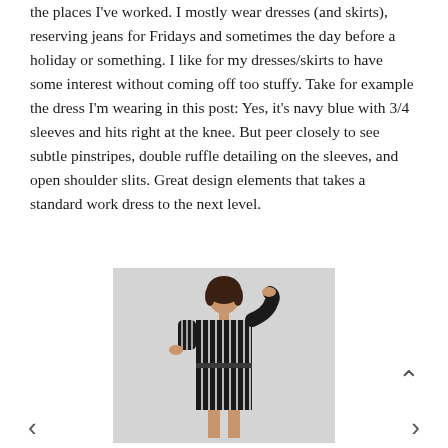the places I've worked. I mostly wear dresses (and skirts), reserving jeans for Fridays and sometimes the day before a holiday or something. I like for my dresses/skirts to have some interest without coming off too stuffy. Take for example the dress I'm wearing in this post: Yes, it's navy blue with 3/4 sleeves and hits right at the knee. But peer closely to see subtle pinstripes, double ruffle detailing on the sleeves, and open shoulder slits. Great design elements that takes a standard work dress to the next level.
[Figure (photo): A woman wearing a black and white striped dress with short sleeves and a belt, standing against a light gray background, with one hand raised near her head.]